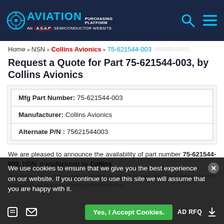AVIATION PURCHASING PLATFORM — AN A.S.A.P SEMICONDUCTOR WEBSITE
Home » NSN » Collins Avionics » 75-621544-003
Request a Quote for Part 75-621544-003, by Collins Avionics
| Mfg Part Number: | 75-621544-003 |
| Manufacturer: | Collins Avionics |
| Alternate P/N : | 75621544003 |
We are pleased to announce the availability of part number 75-621544-003, NSN  manufactured by Collins Avionics. You can now request a rapid quote for this part. Simply complete all the necessary details in the form provided below and submit it to our experienced
We use cookies to ensure that we give you the best experience on our website. If you continue to use this site we will assume that you are happy with it.
Yes, I Accept Cookies.   DOWNLOAD RFQ